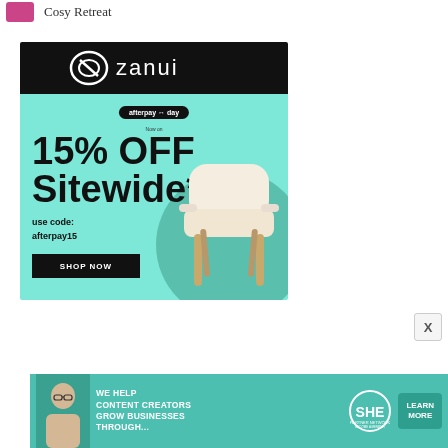Cosy Retreat
[Figure (infographic): Zanui advertisement: black header with Zanui logo, teal body showing '15% OFF Sitewide*' promotion with afterpay day badge, 'use code: afterpay15', SHOP NOW button, and a cream accent chair image on teal circle background.]
[Figure (infographic): SHE Media banner ad: 'We help content creators grow businesses through...' with SHE Partner Network logo and LEARN MORE button on teal background.]